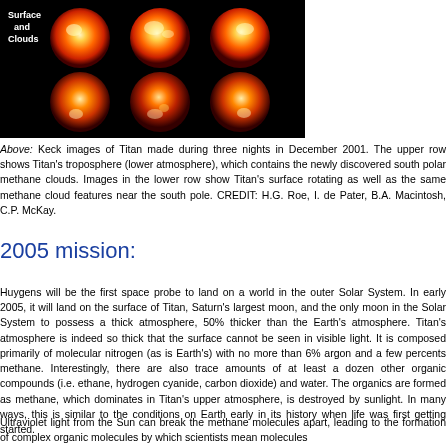[Figure (photo): Three glowing orange/red infrared images of Titan against black background, with 'Surface and Clouds' label in white text at upper left]
Above: Keck images of Titan made during three nights in December 2001. The upper row shows Titan's troposphere (lower atmosphere), which contains the newly discovered south polar methane clouds. Images in the lower row show Titan's surface rotating as well as the same methane cloud features near the south pole. CREDIT: H.G. Roe, I. de Pater, B.A. Macintosh, C.P. McKay.
2005 mission:
Huygens will be the first space probe to land on a world in the outer Solar System. In early 2005, it will land on the surface of Titan, Saturn's largest moon, and the only moon in the Solar System to possess a thick atmosphere, 50% thicker than the Earth's atmosphere. Titan's atmosphere is indeed so thick that the surface cannot be seen in visible light. It is composed primarily of molecular nitrogen (as is Earth's) with no more than 6% argon and a few percents methane. Interestingly, there are also trace amounts of at least a dozen other organic compounds (i.e. ethane, hydrogen cyanide, carbon dioxide) and water. The organics are formed as methane, which dominates in Titan's upper atmosphere, is destroyed by sunlight. In many ways, this is similar to the conditions on Earth early in its history when life was first getting started.
Ultraviolet light from the Sun can break the methane molecules apart, leading to the formation of complex organic molecules by which scientists mean molecules containing carbon. Saturn's moon Titan will be...